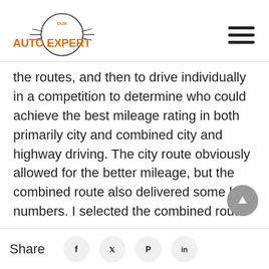Our Auto Expert
the routes, and then to drive individually in a competition to determine who could achieve the best mileage rating in both primarily city and combined city and highway driving. The city route obviously allowed for the better mileage, but the combined route also delivered some high numbers. I selected the combined route
Share